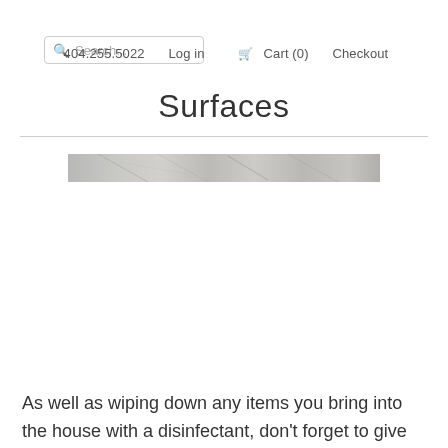Search... | 404.255.5022 | Log in | Cart (0) | Checkout
Surfaces
[Figure (photo): A horizontal strip image showing a marble or stone surface texture in grey and white tones]
As well as wiping down any items you bring into the house with a disinfectant, don't forget to give the same treatment